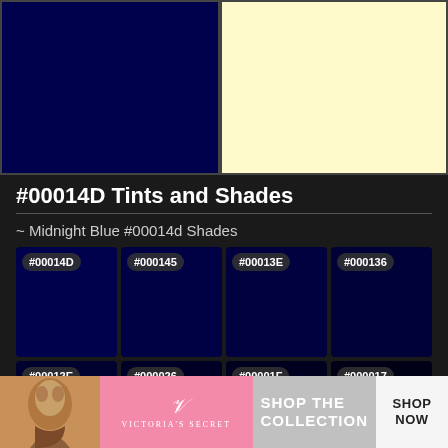[Figure (other): Two color swatches: left is dark navy #00014D, right is light yellow #FAFACC]
#00014D Tints and Shades
~ Midnight Blue #00014d Shades
[Figure (other): Grid of 4 dark navy color shades: #00014D, #000145, #00013E, #000136]
[Figure (other): Grid of 4 darker navy color shades: #00012E, #000026, #00001F, #000017]
[Figure (other): Advertisement banner for Victoria's Secret - Shop The Collection]